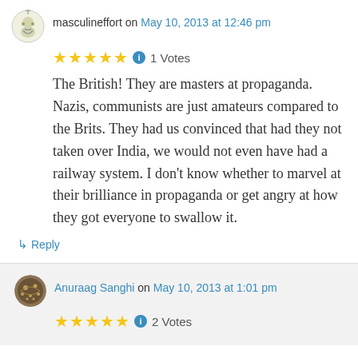masculineffort on May 10, 2013 at 12:46 pm
★★★★★ ℹ 1 Votes
The British! They are masters at propaganda. Nazis, communists are just amateurs compared to the Brits. They had us convinced that had they not taken over India, we would not even have had a railway system. I don't know whether to marvel at their brilliance in propaganda or get angry at how they got everyone to swallow it.
↳ Reply
Anuraag Sanghi on May 10, 2013 at 1:01 pm
★★★★★ ℹ 2 Votes